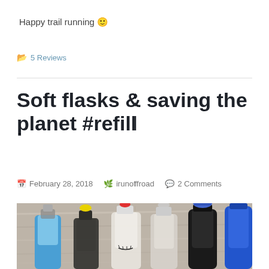Happy trail running 🙂
📂 5 Reviews
Soft flasks & saving the planet #refill
📅 February 28, 2018  👤 🌿irunoffroad  💬 2 Comments
[Figure (photo): Top-down photo of several soft flasks and water bottles lined up on a wooden surface, showing various cap types and colors including blue, translucent, and dark bottles.]